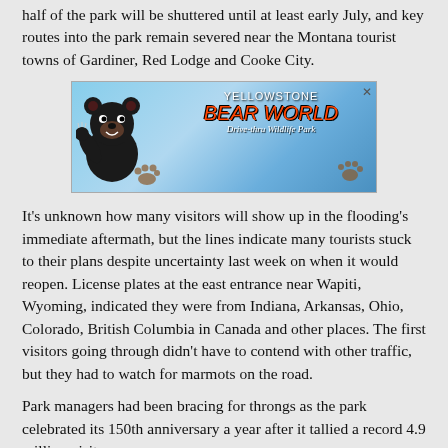half of the park will be shuttered until at least early July, and key routes into the park remain severed near the Montana tourist towns of Gardiner, Red Lodge and Cooke City.
[Figure (photo): Yellowstone Bear World advertisement banner showing a cartoon bear, paw prints, and the text 'YELLOWSTONE BEAR WORLD Drive-thru Wildlife Park' against a blue sky background.]
It's unknown how many visitors will show up in the flooding's immediate aftermath, but the lines indicate many tourists stuck to their plans despite uncertainty last week on when it would reopen. License plates at the east entrance near Wapiti, Wyoming, indicated they were from Indiana, Arkansas, Ohio, Colorado, British Columbia in Canada and other places. The first visitors going through didn't have to contend with other traffic, but they had to watch for marmots on the road.
Park managers had been bracing for throngs as the park celebrated its 150th anniversary a year after it tallied a record 4.9 million visits.
Muris Demirovic, 43, of Miami and his 70-year-old mother arrived at the east entrance at about 5:30 a.m. Wednesday